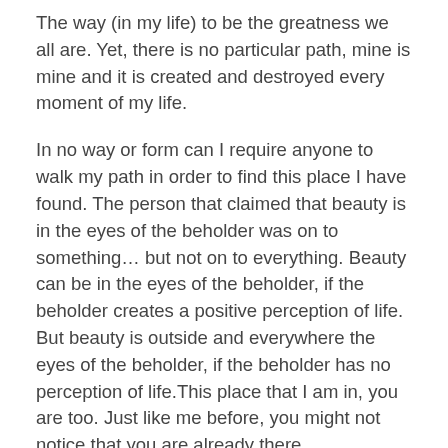The way (in my life) to be the greatness we all are. Yet, there is no particular path, mine is mine and it is created and destroyed every moment of my life.
In no way or form can I require anyone to walk my path in order to find this place I have found. The person that claimed that beauty is in the eyes of the beholder was on to something… but not on to everything. Beauty can be in the eyes of the beholder, if the beholder creates a positive perception of life. But beauty is outside and everywhere the eyes of the beholder, if the beholder has no perception of life.This place that I am in, you are too. Just like me before, you might not notice that you are already there.
Although I am not religious, this place that I am in, feels amazingly spiritual. Spiritual in the sense that